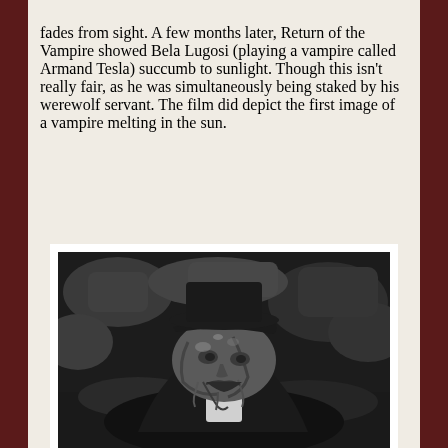fades from sight. A few months later, Return of the Vampire showed Bela Lugosi (playing a vampire called Armand Tesla) succumb to sunlight. Though this isn't really fair, as he was simultaneously being staked by his werewolf servant. The film did depict the first image of a vampire melting in the sun.
[Figure (photo): Black and white film still showing a vampire character (Bela Lugosi as Armand Tesla) in a deteriorating or melting state, lying among rocks, wearing a dark cape and white bow tie.]